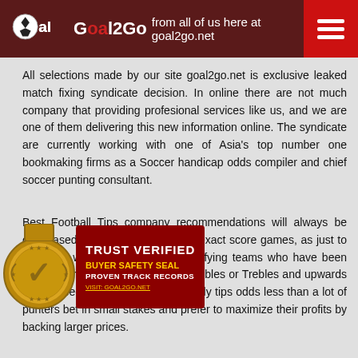Goal2Go — from all of us here at goal2go.net
All selections made by our site goal2go.net is exclusive leaked match fixing syndicate decision. In online there are not much company that providing profesional services like us, and we are one of them delivering this new information online. The syndicate are currently working with one of Asia's top number one bookmaking firms as a Soccer handicap odds compiler and chief soccer punting consultant.
Best Football Tips company recommendations will always be only based on all our services and exact score games, as just to win each week, the skill is in identifying teams who have been underestimated at larger prices. Doubles or Trebles and upwards are just bedrock of bookmakers rarely tips odds less than a lot of punters bet in small stakes and prefer to maximize their profits by backing larger prices.
[Figure (logo): Trust Verified Buyer Safety Seal — Proven Track Records badge with gold medal and red label]